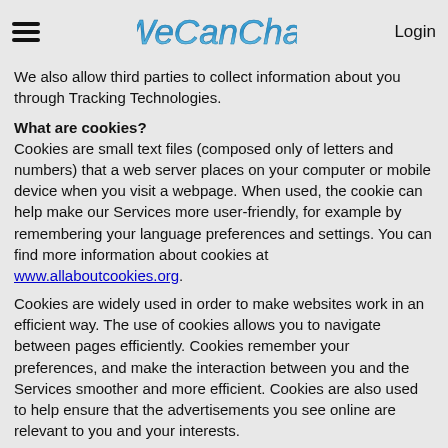WeCannChat | Login
We also allow third parties to collect information about you through Tracking Technologies.
What are cookies?
Cookies are small text files (composed only of letters and numbers) that a web server places on your computer or mobile device when you visit a webpage. When used, the cookie can help make our Services more user-friendly, for example by remembering your language preferences and settings. You can find more information about cookies at www.allaboutcookies.org.
Cookies are widely used in order to make websites work in an efficient way. The use of cookies allows you to navigate between pages efficiently. Cookies remember your preferences, and make the interaction between you and the Services smoother and more efficient. Cookies are also used to help ensure that the advertisements you see online are relevant to you and your interests.
Storing Tracking Technologies